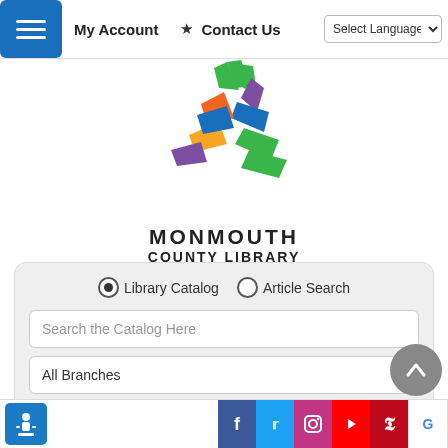[Figure (screenshot): Monmouth County Library website navigation bar with hamburger menu, My Account, Contact Us links, and Select Language dropdown]
[Figure (logo): Monmouth County Library colorful leaf/wing logo with text MONMOUTH COUNTY LIBRARY]
[Figure (screenshot): Library catalog search widget with Library Catalog and Article Search radio buttons, search text field, All Branches dropdown, and SEARCH button]
[Figure (screenshot): Bottom bar with accessibility icon, social media icons: Facebook, Twitter, Instagram, YouTube, Pinterest, Google]